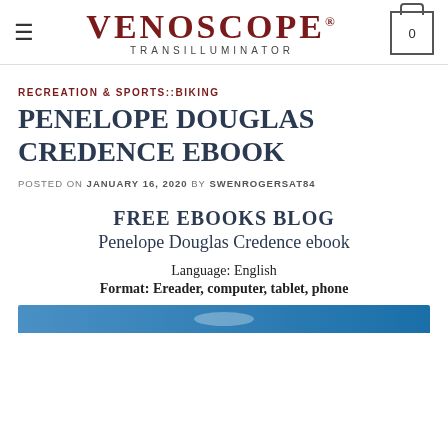VENOSCOPE® TRANSILLUMINATOR
RECREATION & SPORTS::BIKING
PENELOPE DOUGLAS CREDENCE EBOOK
POSTED ON JANUARY 16, 2020 BY SWENROGERSAT84
FREE EBOOKS BLOG
Penelope Douglas Credence ebook

Language: English
Format: Ereader, computer, tablet, phone
[Figure (other): Blue banner at bottom of page]